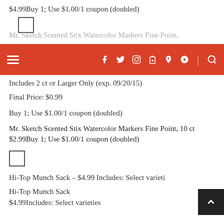$4.99Buy 1; Use $1.00/1 coupon (doubled)
[Figure (other): Checkbox (empty square)]
Mr. Sketch Scented Stix Watercolor Markers Fine Point,
Navigation bar with hamburger menu and social icons (Facebook, Twitter, Instagram, Pinterest, Google+, Search) on red background
Includes 2 ct or Larger Only (exp. 09/20/15)
Final Price: $0.99
Buy 1; Use $1.00/1 coupon (doubled)
Mr. Sketch Scented Stix Watercolor Markers Fine Point, 10 ct
$2.99Buy 1; Use $1.00/1 coupon (doubled)
[Figure (other): Checkbox (empty square)]
Hi-Top Munch Sack – $4.99 Includes: Select varieties
Hi-Top Munch Sack
$4.99Includes: Select varieties